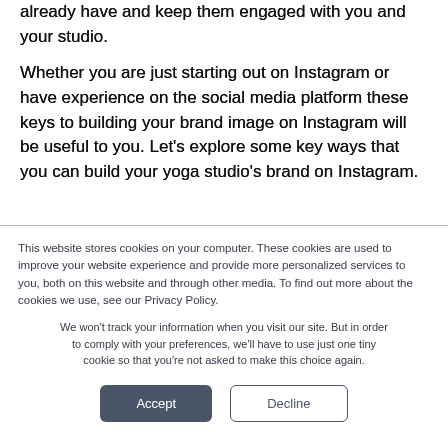already have and keep them engaged with you and your studio.
Whether you are just starting out on Instagram or have experience on the social media platform these keys to building your brand image on Instagram will be useful to you. Let’s explore some key ways that you can build your yoga studio’s brand on Instagram.
This website stores cookies on your computer. These cookies are used to improve your website experience and provide more personalized services to you, both on this website and through other media. To find out more about the cookies we use, see our Privacy Policy.
We won’t track your information when you visit our site. But in order to comply with your preferences, we’ll have to use just one tiny cookie so that you’re not asked to make this choice again.
Accept
Decline